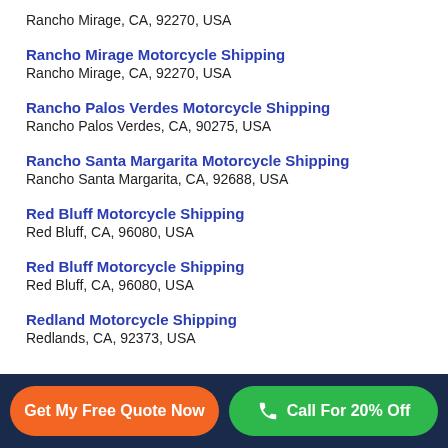Rancho Mirage, CA, 92270, USA
Rancho Mirage Motorcycle Shipping
Rancho Mirage, CA, 92270, USA
Rancho Palos Verdes Motorcycle Shipping
Rancho Palos Verdes, CA, 90275, USA
Rancho Santa Margarita Motorcycle Shipping
Rancho Santa Margarita, CA, 92688, USA
Red Bluff Motorcycle Shipping
Red Bluff, CA, 96080, USA
Red Bluff Motorcycle Shipping
Red Bluff, CA, 96080, USA
Redland Motorcycle Shipping
Redlands, CA, 92373, USA
Get My Free Quote Now | Call For 20% Off